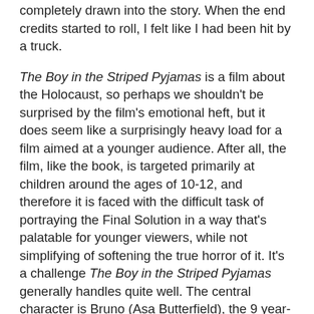completely drawn into the story. When the end credits started to roll, I felt like I had been hit by a truck.
The Boy in the Striped Pyjamas is a film about the Holocaust, so perhaps we shouldn't be surprised by the film's emotional heft, but it does seem like a surprisingly heavy load for a film aimed at a younger audience. After all, the film, like the book, is targeted primarily at children around the ages of 10-12, and therefore it is faced with the difficult task of portraying the Final Solution in a way that's palatable for younger viewers, while not simplifying of softening the true horror of it. It's a challenge The Boy in the Striped Pyjamas generally handles quite well. The central character is Bruno (Asa Butterfield), the 9 year-old son of a German officer (David Thewlis) who has been placed in charge of a concentration camp. When he gazes from the bedroom window of his family's new home, Bruno can see a strange farm beyond the forest, where everyone seems to be wearing the same pyjamas.
Despite warnings from his mother (Vera Farmiga) to stay within the confines of the house, an overpowering mixture of